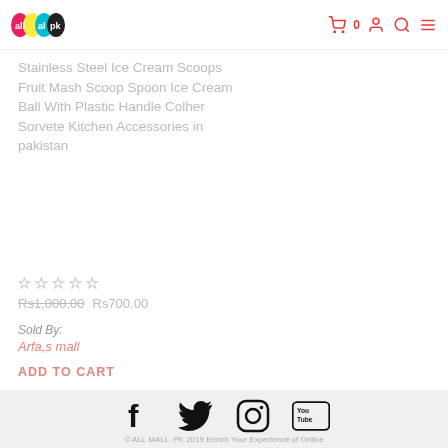allmall.pk — navigation header with cart, user, search, and menu icons
Stainless Steel Ice Cream Scoops Fruit Mash Scoop Spoon Ice Cream Ball With Plastic Handle Colher Sorvete Kitchen Accessories in pakistan
☆☆☆☆☆
Rs1,000.00  Rs700.00
Sold By:
Arfa,s mall
ADD TO CART
[Figure (illustration): Social media icons: Facebook, Twitter, Instagram, YouTube]
© ALL MALL .PK 2019 Enrich Your Experience of Online